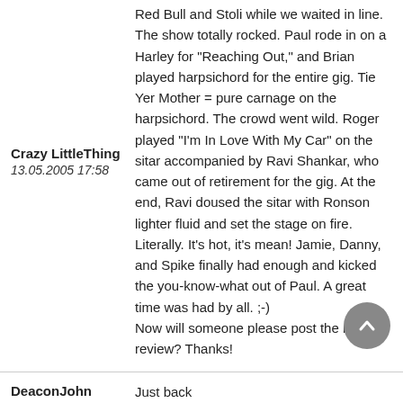Red Bull and Stoli while we waited in line. The show totally rocked. Paul rode in on a Harley for "Reaching Out," and Brian played harpsichord for the entire gig. Tie Yer Mother = pure carnage on the harpsichord. The crowd went wild. Roger played "I'm In Love With My Car" on the sitar accompanied by Ravi Shankar, who came out of retirement for the gig. At the end, Ravi doused the sitar with Ronson lighter fluid and set the stage on fire. Literally. It's hot, it's mean! Jamie, Danny, and Spike finally had enough and kicked the you-know-what out of Paul. A great time was had by all. ;-)
Now will someone please post the real review? Thanks!
Crazy LittleThing
13.05.2005 17:58
DeaconJohn
13.05.2005 18:48
Just back
Absolutley fucking amazing...